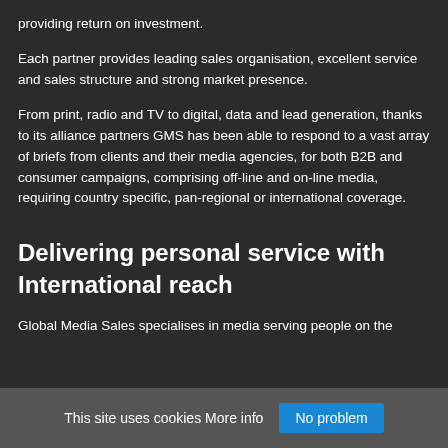providing return on investment.
Each partner provides leading sales organisation, excellent service and sales structure and strong market presence.
From print, radio and TV to digital, data and lead generation, thanks to its alliance partners GMS has been able to respond to a vast array of briefs from clients and their media agencies, for both B2B and consumer campaigns, comprising off-line and on-line media, requiring country specific, pan-regional or international coverage.
Delivering personal service with International reach
Global Media Sales specialises in media serving people on the
This site uses cookies More info   No problem